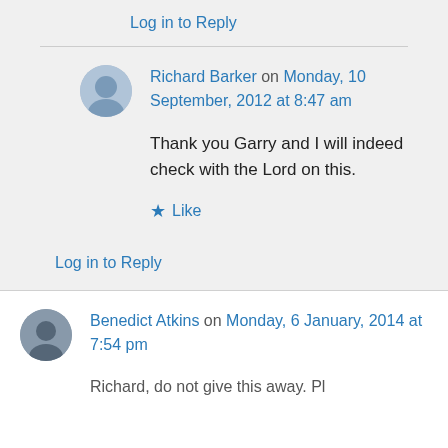Log in to Reply
Richard Barker on Monday, 10 September, 2012 at 8:47 am
Thank you Garry and I will indeed check with the Lord on this.
Like
Log in to Reply
Benedict Atkins on Monday, 6 January, 2014 at 7:54 pm
Richard, do not give this away. Pl